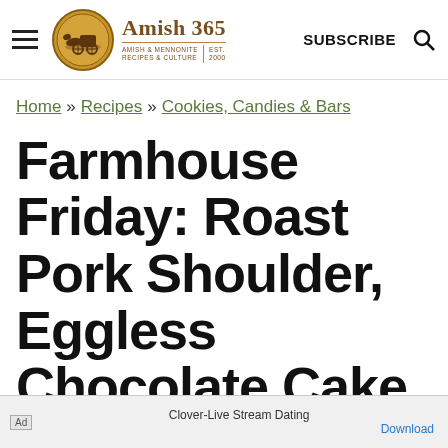Amish 365 — AMISH & MENNONITE RECIPES & CULTURE | EST. 2000 | SUBSCRIBE
Home » Recipes » Cookies, Candies & Bars
Farmhouse Friday: Roast Pork Shoulder, Eggless Chocolate Cake
Ad — Clover-Live Stream Dating — Download